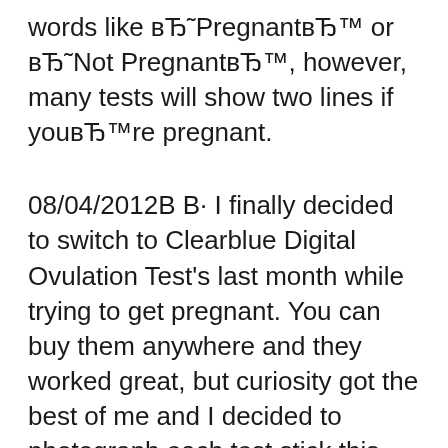words like вЂ˜PregnantвЂ™ or вЂ˜Not PregnantвЂ™, however, many tests will show two lines if youвЂ™re pregnant.
08/04/2012В В· I finally decided to switch to Clearblue Digital Ovulation Test's last month while trying to get pregnant. You can buy them anywhere and they worked great, but curiosity got the best of me and I decided to photograph each test stick this month to see if I could figure out the mystery. What do the lines mean on a Clearblue Digital Ovulation Test The horizontal line on a Clearblue Plus pregnancy test is prepainted, and it's perfectly normal to see it before testing. If your result is positive, a vertical line will appear after